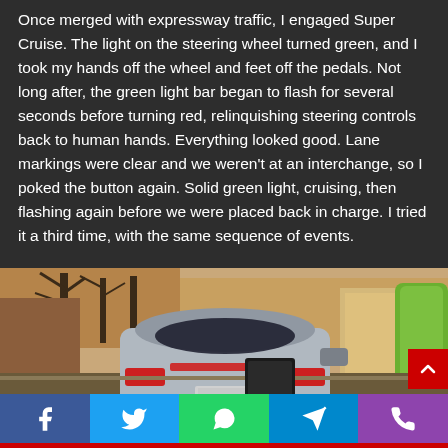Once merged with expressway traffic, I engaged Super Cruise. The light on the steering wheel turned green, and I took my hands off the wheel and feet off the pedals. Not long after, the green light bar began to flash for several seconds before turning red, relinquishing steering controls back to human hands. Everything looked good. Lane markings were clear and we weren't at an interchange, so I poked the button again. Solid green light, cruising, then flashing again before we were placed back in charge. I tried it a third time, with the same sequence of events.
[Figure (photo): Rear view of a silver car parked on a street in front of shops. A green kayak or board is visible near the right side. Trees line the street in the background.]